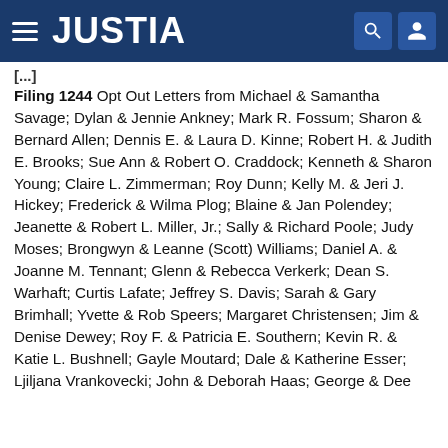JUSTIA
Filing 1244  Opt Out Letters from Michael & Samantha Savage; Dylan & Jennie Ankney; Mark R. Fossum; Sharon & Bernard Allen; Dennis E. & Laura D. Kinne; Robert H. & Judith E. Brooks; Sue Ann & Robert O. Craddock; Kenneth & Sharon Young; Claire L. Zimmerman; Roy Dunn; Kelly M. & Jeri J. Hickey; Frederick & Wilma Plog; Blaine & Jan Polendey; Jeanette & Robert L. Miller, Jr.; Sally & Richard Poole; Judy Moses; Brongwyn & Leanne (Scott) Williams; Daniel A. & Joanne M. Tennant; Glenn & Rebecca Verkerk; Dean S. Warhaft; Curtis Lafate; Jeffrey S. Davis; Sarah & Gary Brimhall; Yvette & Rob Speers; Margaret Christensen; Jim & Denise Dewey; Roy F. & Patricia E. Southern; Kevin R. & Katie L. Bushnell; Gayle Moutard; Dale & Katherine Esser; Ljiljana Vrankovecki; John & Deborah Haas; George & Dee ...